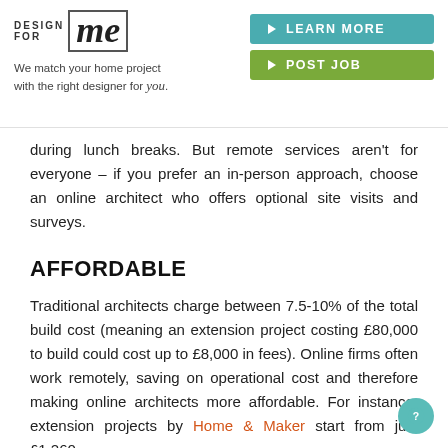DESIGN FOR me — We match your home project with the right designer for you.
during lunch breaks. But remote services aren't for everyone – if you prefer an in-person approach, choose an online architect who offers optional site visits and surveys.
AFFORDABLE
Traditional architects charge between 7.5-10% of the total build cost (meaning an extension project costing £80,000 to build could cost up to £8,000 in fees). Online firms often work remotely, saving on operational cost and therefore making online architects more affordable. For instance, extension projects by Home & Maker start from just £1,260.